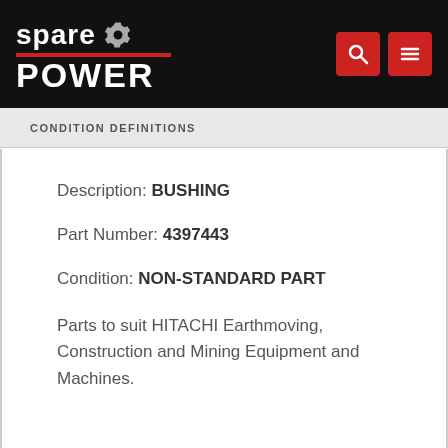[Figure (logo): Spare Power logo with gear icon on black header bar, with red search and menu buttons]
CONDITION DEFINITIONS
Description: BUSHING
Part Number: 4397443
Condition: NON-STANDARD PART
Parts to suit HITACHI Earthmoving, Construction and Mining Equipment and Machines.